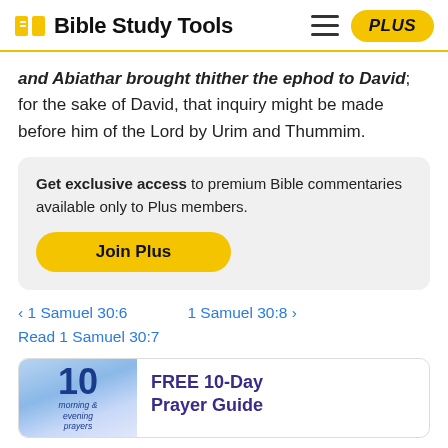Bible Study Tools | PLUS
and Abiathar brought thither the ephod to David; for the sake of David, that inquiry might be made before him of the Lord by Urim and Thummim.
Get exclusive access to premium Bible commentaries available only to Plus members. Join Plus
< 1 Samuel 30:6   1 Samuel 30:8 >
Read 1 Samuel 30:7
[Figure (infographic): FREE 10-Day Prayer Guide promotional card with a blue sky/clouds book cover image showing number 10, morning & evening prayers text, and title FREE 10-Day Prayer Guide in purple bold text]